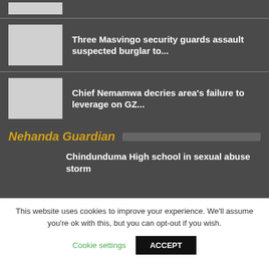[Figure (photo): Partial thumbnail image at top, mostly cropped]
Three Masvingo security guards assault suspected burglar to...
Chief Nemamwa decries area's failure to leverage on GZ...
Nehanda Guardian
Chindunduma High school in sexual abuse storm
This website uses cookies to improve your experience. We'll assume you're ok with this, but you can opt-out if you wish.
Cookie settings
ACCEPT